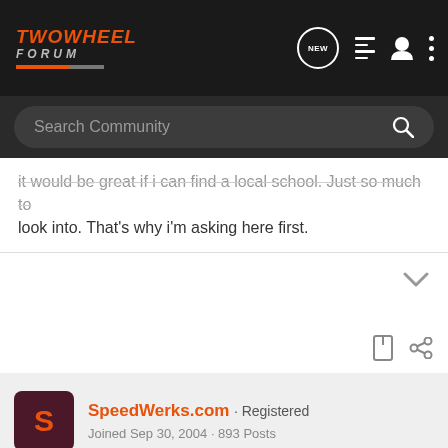[Figure (screenshot): TwoWheel Forum logo with orange and grey styling on dark header background]
Search Community
it would be great if i can find a local school. Just so much to look into. That's why i'm asking here first.
SpeedWerks.com · Registered
Joined Sep 30, 2004 · 893 Posts
#5   Mar 10, 2005